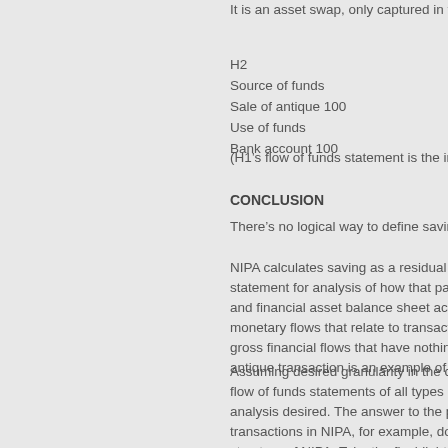It is an asset swap, only captured in the flow of funds statement.
H2
Source of funds
Sale of antique 100
Use of funds
Bank account 100
(H1’s flow of funds statement is the inverse of this)
CONCLUSION
There’s no logical way to define saving other than a residua…
NIPA calculates saving as a residual income component, and se… statement for analysis of how that part of income gets used in th… and financial asset balance sheet accounting. That’s where… monetary flows that relate to transactions reflecting not only the… gross financial flows that have nothing to do with current period… antique transaction is an example of that.
Assuming desired granularity in the composition of income state… flow of funds statements of all types (macro and micro), one mo… analysis desired. The answer to the problem of not finding the m… transactions in NIPA, for example, does not lie in attempting to r… structure of NIPA. Take the flashlight, and starting looking at rela… of funds statements, and their relationships to NIPA. That’s…